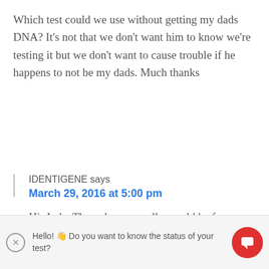Which test could we use without getting my dads DNA? It's not that we don't want him to know we're testing it but we don't want to cause trouble if he happens to not be my dads. Much thanks
Reply
IDENTIGENE says
March 29, 2016 at 5:00 pm
Hi, Jude. The only way really would be for one or both of your
Hello! 👋 Do you want to know the status of your test?